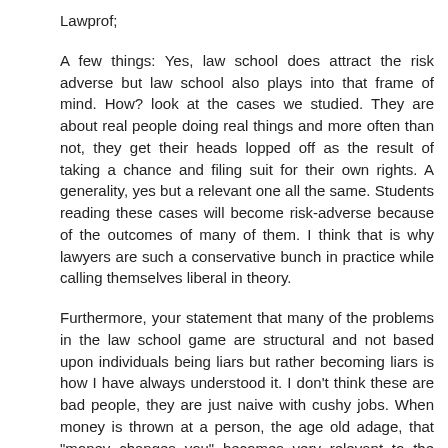Lawprof;
A few things: Yes, law school does attract the risk adverse but law school also plays into that frame of mind. How? look at the cases we studied. They are about real people doing real things and more often than not, they get their heads lopped off as the result of taking a chance and filing suit for their own rights. A generality, yes but a relevant one all the same. Students reading these cases will become risk-adverse because of the outcomes of many of them. I think that is why lawyers are such a conservative bunch in practice while calling themselves liberal in theory.
Furthermore, your statement that many of the problems in the law school game are structural and not based upon individuals being liars but rather becoming liars is how I have always understood it. I don't think these are bad people, they are just naive with cushy jobs. When money is thrown at a person, the age old adage, that "money changes you" becomes very relevant to the discussion. The problem IS systemic and structural and the only way to change it is with structural change from the outside.